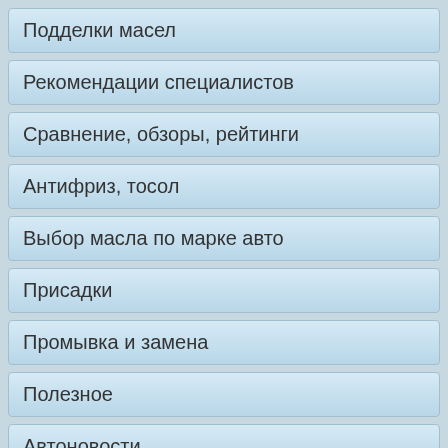Подделки масел
Рекомендации специалистов
Сравнение, обзоры, рейтинги
Антифриз, тосол
Выбор масла по марке авто
Присадки
Промывка и замена
Полезное
Автоновости
Тест-драйвы